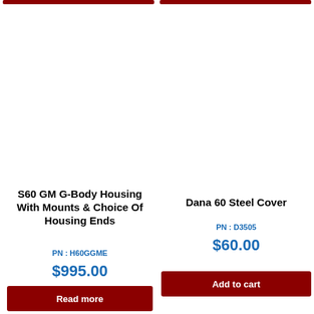S60 GM G-Body Housing With Mounts & Choice Of Housing Ends
PN : H60GGME
$995.00
Read more
Dana 60 Steel Cover
PN : D3505
$60.00
Add to cart